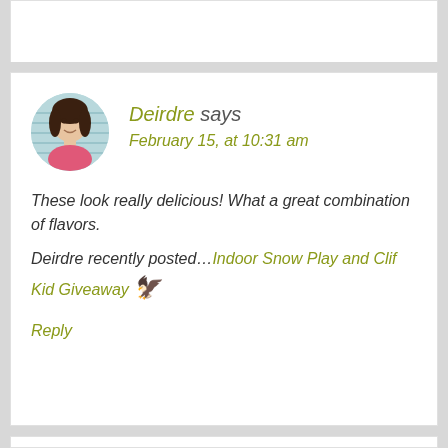(partial previous comment card)
Deirdre says
February 15, at 10:31 am

These look really delicious! What a great combination of flavors.
Deirdre recently posted…Indoor Snow Play and Clif Kid Giveaway

Reply
Dee says
February 25, at 3:42 pm